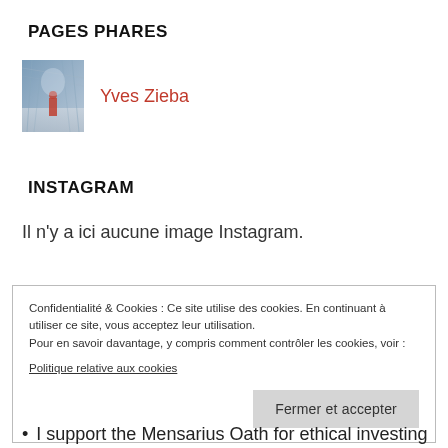PAGES PHARES
[Figure (photo): Small thumbnail photo showing a person standing in a corridor with blue/grey light]
Yves Zieba
INSTAGRAM
Il n'y a ici aucune image Instagram.
Confidentialité & Cookies : Ce site utilise des cookies. En continuant à utiliser ce site, vous acceptez leur utilisation.
Pour en savoir davantage, y compris comment contrôler les cookies, voir :
Politique relative aux cookies
Fermer et accepter
I support the Mensarius Oath for ethical investing